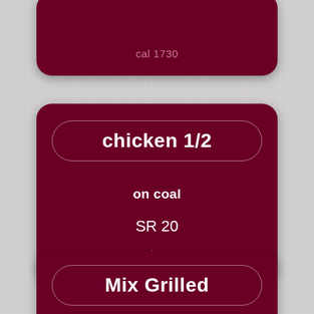cal 1730
chicken 1/2
on coal
SR 20
cal 767
Mix Grilled